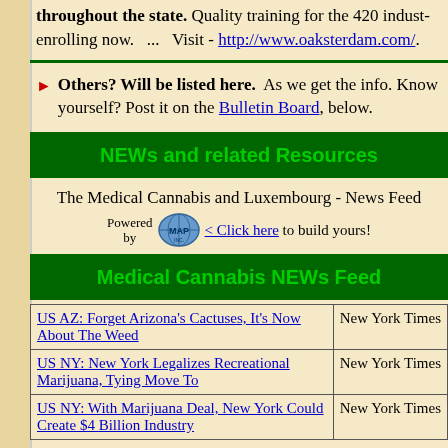throughout the state. Quality training for the 420 industry enrolling now. ... Visit - http://www.oaksterdam.com/.
Others? Will be listed here. As we get the info. Know yourself? Post it on the Bulletin Board, below.
NEWs and related Resources
The Medical Cannabis and Luxembourg - News Feed
Powered by [MAP logo] < Click here to build yours!
Medical Cannabis NEWs Feed
| Article | Source |
| --- | --- |
| US AZ: Forget Arizona's Cactuses, It's Now About The Weed | New York Times |
| US NY: New York Legalizes Recreational Marijuana, Tying Move To | New York Times |
| US NY: With Marijuana Deal, New York Could Create $4 Billion Industry | New York Times |